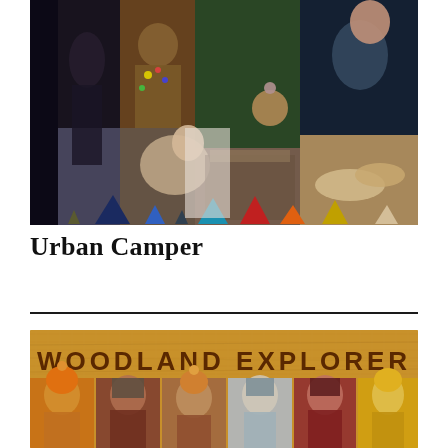[Figure (photo): Fashion mood board collage labeled 'Urban Camper' featuring multiple images of models in layered winter/outdoor fashion with fur vests, knit hats, badges, and outdoor-themed clothing. Bottom row shows colored triangle shapes in navy, blue, teal, red, orange, yellow, and beige.]
Urban Camper
[Figure (photo): Woodland Explorer banner on cork board texture background with 'WOODLAND EXPLORER' text in bold brown letters, and a row of children wearing colorful winter hats, scarves, and outdoor clothing.]